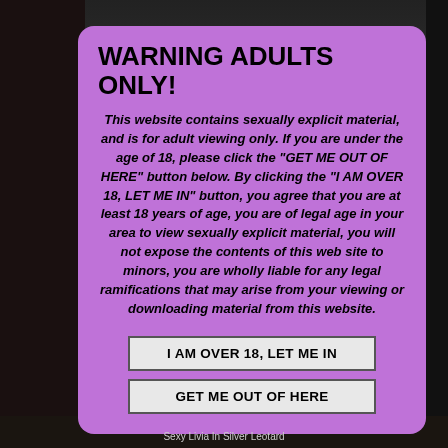WARNING ADULTS ONLY!
This website contains sexually explicit material, and is for adult viewing only. If you are under the age of 18, please click the "GET ME OUT OF HERE" button below. By clicking the "I AM OVER 18, LET ME IN" button, you agree that you are at least 18 years of age, you are of legal age in your area to view sexually explicit material, you will not expose the contents of this web site to minors, you are wholly liable for any legal ramifications that may arise from your viewing or downloading material from this website.
I AM OVER 18, LET ME IN
GET ME OUT OF HERE
Sexy Livia In Silver Leotard